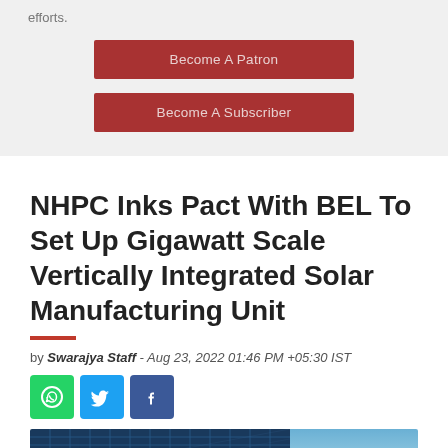efforts.
Become A Patron
Become A Subscriber
NHPC Inks Pact With BEL To Set Up Gigawatt Scale Vertically Integrated Solar Manufacturing Unit
by Swarajya Staff - Aug 23, 2022 01:46 PM +05:30 IST
[Figure (other): Social share icons: WhatsApp (green), Twitter (blue), Facebook (dark blue)]
[Figure (photo): Solar panels in a field with green grass visible at the edge]